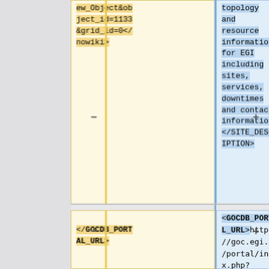| Left (removed) | Right (added) |
| --- | --- |
| ew_Object&object_id=1133&grid_id=0</nowiki> | topology and resource information for EGI including sites, services, downtimes and contact information.</SITE_DESCRIPTION> |
| </GOCDB_PORTAL_URL> | <GOCDB_PORTAL_URL>https://goc.egi.eu/portal/index.php?Page_Type=Site&amp;id=33 |